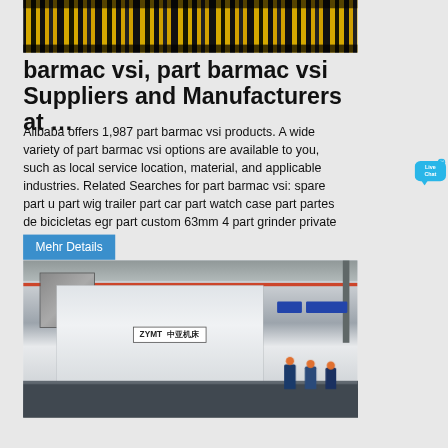[Figure (photo): Industrial yellow and black coil springs or mechanical components stacked in rows]
barmac vsi, part barmac vsi Suppliers and Manufacturers at …
Alibaba offers 1,987 part barmac vsi products. A wide variety of part barmac vsi options are available to you, such as local service location, material, and applicable industries. Related Searches for part barmac vsi: spare part u part wig trailer part car part watch case part partes de bicicletas egr part custom 63mm 4 part grinder private part u part …
Mehr Details
[Figure (photo): Large industrial ZYMT press brake machine in a factory with workers standing next to it for scale]